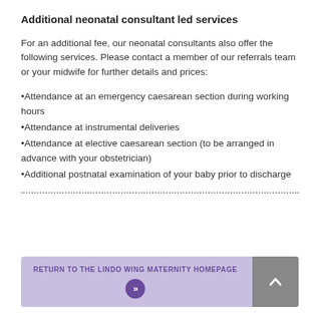Additional neonatal consultant led services
For an additional fee, our neonatal consultants also offer the following services. Please contact a member of our referrals team or your midwife for further details and prices:
•Attendance at an emergency caesarean section during working hours
•Attendance at instrumental deliveries
•Attendance at elective caesarean section (to be arranged in advance with your obstetrician)
•Additional postnatal examination of your baby prior to discharge
RETURN TO THE LINDO WING MATERNITY HOMEPAGE